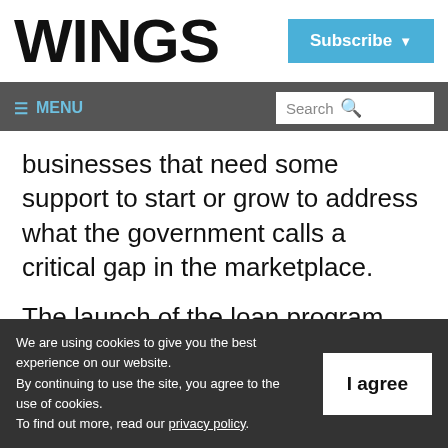WINGS
businesses that need some support to start or grow to address what the government calls a critical gap in the marketplace.
The launch of the loan program comes months after the Liberals first laid out the
We are using cookies to give you the best experience on our website. By continuing to use the site, you agree to the use of cookies. To find out more, read our privacy policy.